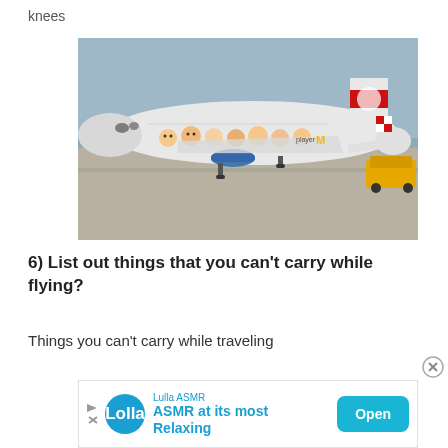knees
[Figure (photo): A passenger airplane on a tarmac with cartoon children faces painted on the fuselage and McDonald's Happy Player branding. The tail is white with a red and white Austrian Airlines logo. A yellow ground vehicle is visible to the right.]
6) List out things that you can't carry while flying?
Things you can't carry while traveling
[Figure (other): Advertisement banner for Lulla ASMR app with teal Open button]